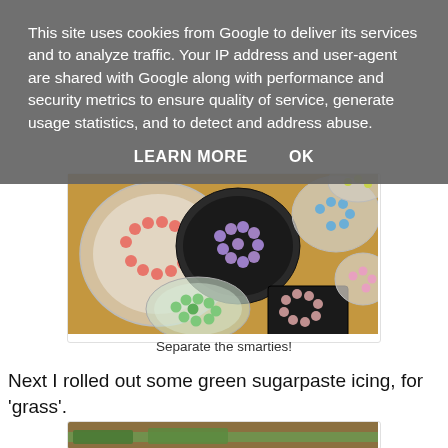This site uses cookies from Google to deliver its services and to analyze traffic. Your IP address and user-agent are shared with Google along with performance and security metrics to ensure quality of service, generate usage statistics, and to detect and address abuse.
LEARN MORE    OK
[Figure (photo): Overhead view of multiple bowls and containers holding separated smarties candies by color: pink in a round translucent bowl, purple in a dark bowl, blue in a round bowl, green in a glass bowl, pink/mauve in a square black container, and yellow/green partially visible at top.]
Separate the smarties!
Next I rolled out some green sugarpaste icing, for 'grass'.
[Figure (photo): Partially visible image at the bottom of the page, showing what appears to be a surface with green sugarpaste icing being rolled out.]